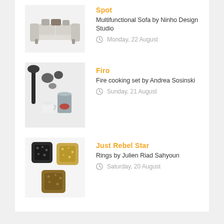Spot
Multifunctional Sofa by Ninho Design Studio
Monday, 22 August
Firo
Fire cooking set by Andrea Sosinski
Sunday, 21 August
Just Rebel Star
Rings by Julien Riad Sahyoun
Saturday, 20 August
NEWSLETTER